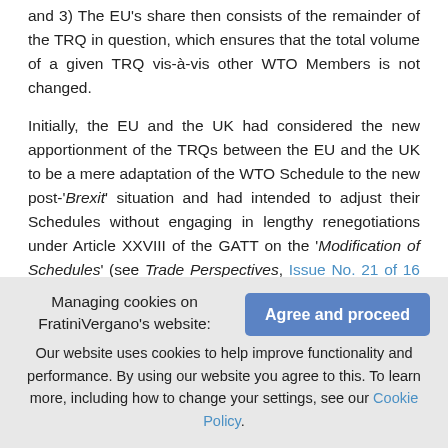and 3) The EU's share then consists of the remainder of the TRQ in question, which ensures that the total volume of a given TRQ vis-à-vis other WTO Members is not changed.
Initially, the EU and the UK had considered the new apportionment of the TRQs between the EU and the UK to be a mere adaptation of the WTO Schedule to the new post-'Brexit' situation and had intended to adjust their Schedules without engaging in lengthy renegotiations under Article XXVIII of the GATT on the 'Modification of Schedules' (see Trade Perspectives, Issue No. 21 of 16 November 2018). Following the EU's and the UK's
Managing cookies on FratiniVergano's website: Our website uses cookies to help improve functionality and performance. By using our website you agree to this. To learn more, including how to change your settings, see our Cookie Policy.